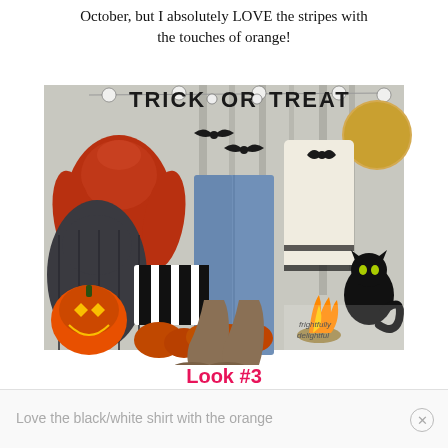October, but I absolutely LOVE the stripes with the touches of orange!
[Figure (photo): Halloween-themed fashion collage showing orange sweater, dark puffer vest, striped pillow, cowboy boots, blue jeans, cream top with bow, jack-o-lantern pumpkin, campfire, black cat, full moon, and 'TRICK OR TREAT' banner. Frightfully Delightful watermark visible.]
Look #3
Love the black/white shirt with the orange